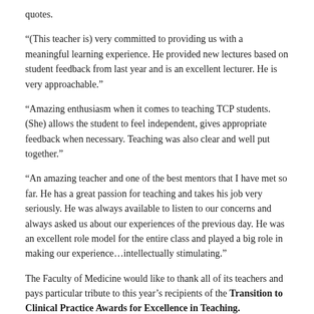quotes.
“(This teacher is) very committed to providing us with a meaningful learning experience. He provided new lectures based on student feedback from last year and is an excellent lecturer. He is very approachable.”
“Amazing enthusiasm when it comes to teaching TCP students. (She) allows the student to feel independent, gives appropriate feedback when necessary. Teaching was also clear and well put together.”
“An amazing teacher and one of the best mentors that I have met so far. He has a great passion for teaching and takes his job very seriously. He was always available to listen to our concerns and always asked us about our experiences of the previous day. He was an excellent role model for the entire class and played a big role in making our experience…intellectually stimulating.”
The Faculty of Medicine would like to thank all of its teachers and pays particular tribute to this year’s recipients of the Transition to Clinical Practice Awards for Excellence in Teaching.